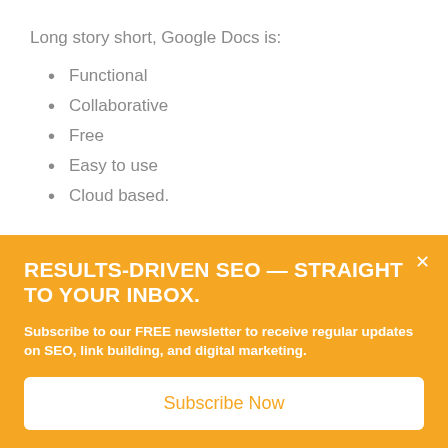Long story short, Google Docs is:
Functional
Collaborative
Free
Easy to use
Cloud based.
RESULTS-DRIVEN SEO — STRAIGHT TO YOUR INBOX.
Subscribe to our FREE newsletter to receive regular updates on SEO, link building, and digital marketing.
Subscribe Now